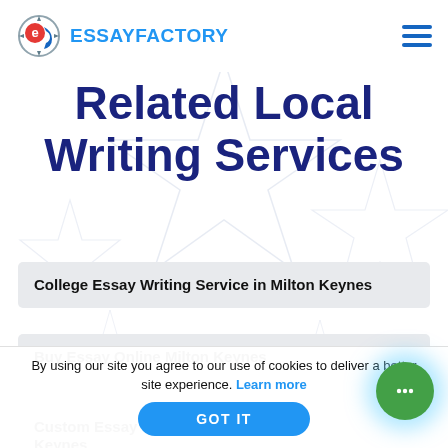ESSAYFACTORY
Related Local Writing Services
College Essay Writing Service in Milton Keynes
Buy Essay Online Milton Keynes
Custom Essay Writing Service Milton Keynes
By using our site you agree to our use of cookies to deliver a better site experience. Learn more
GOT IT